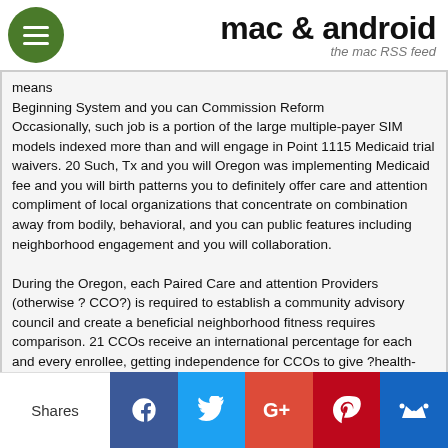mac & android — the mac RSS feed
means
Beginning System and you can Commission Reform
Occasionally, such job is a portion of the large multiple-payer SIM models indexed more than and will engage in Point 1115 Medicaid trial waivers. 20 Such, Tx and you will Oregon was implementing Medicaid fee and you will birth patterns you to definitely offer care and attention compliment of local organizations that concentrate on combination away from bodily, behavioral, and you can public features including neighborhood engagement and you will collaboration.

During the Oregon, each Paired Care and attention Providers (otherwise ? CCO?) is required to establish a community advisory council and create a beneficial neighborhood fitness requires comparison. 21 CCOs receive an international percentage for each and every enrollee, getting independence for CCOs to give ?health-associated characteristics? ? and therefore enhance traditional secured Medicaid professionals and might target the brand new personal determinants from fitness. twenty-two Very early experience suggest that CCOs was hooking up which have community partners and you may start to target social issues one to determine fitness thanks to an excellent range of projects. Like, one to CCO has actually
Shares